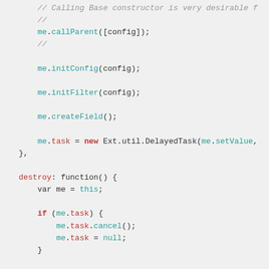[Figure (screenshot): Source code screenshot showing JavaScript constructor and destroy methods with syntax highlighting. Code includes comments, me.callParent, me.initConfig, me.initFilter, me.createField, me.task assignment, destroy function with if block, and me.setColumn call.]